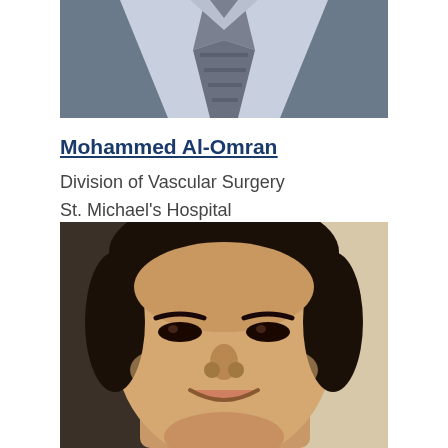[Figure (photo): Cropped photo of a person in a suit and tie, showing only the chest/neck area with a light blue shirt and striped tie]
Mohammed Al-Omran
Division of Vascular Surgery
St. Michael's Hospital
[Figure (photo): Portrait photo of a smiling man with dark hair, appearing to be of South Asian descent, with a light-colored background on the right side]